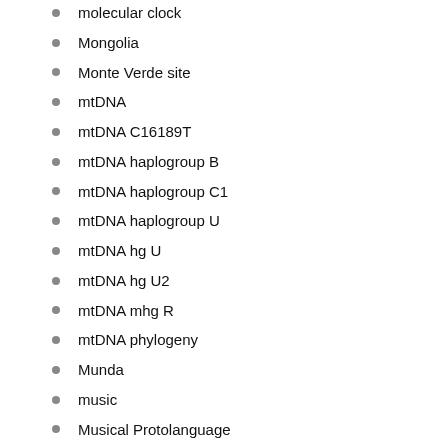molecular clock
Mongolia
Monte Verde site
mtDNA
mtDNA C16189T
mtDNA haplogroup B
mtDNA haplogroup C1
mtDNA haplogroup U
mtDNA hg U
mtDNA hg U2
mtDNA mhg R
mtDNA phylogeny
Munda
music
Musical Protolanguage
Muskogeans